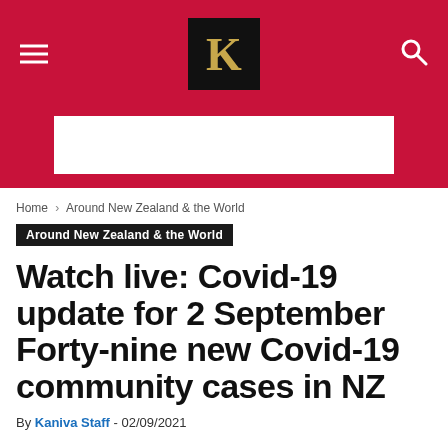Kaniva News — site header with hamburger menu, logo, and search icon
[Figure (other): White advertisement banner area on red background]
Home › Around New Zealand & the World
Around New Zealand & the World
Watch live: Covid-19 update for 2 September Forty-nine new Covid-19 community cases in NZ
By Kaniva Staff - 02/09/2021